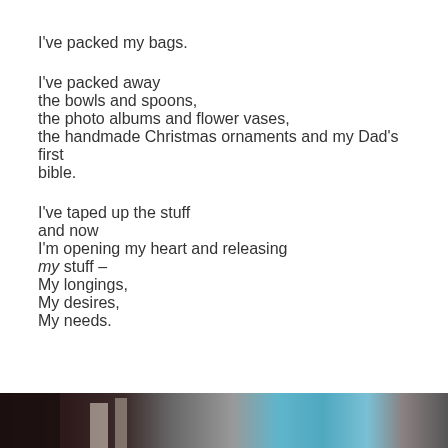I've packed my bags.

I've packed away
the bowls and spoons,
the photo albums and flower vases,
the handmade Christmas ornaments and my Dad's first bible.

I've taped up the stuff
and now
I'm opening my heart and releasing
my stuff –
My longings,
My desires,
My needs.
[Figure (photo): Partial bottom strip of a photograph showing dark and teal/blue tones, appears to be an interior scene]